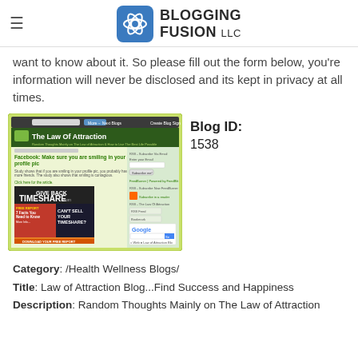BLOGGING FUSION LLC
want to know about it. So please fill out the form below, you're information will never be disclosed and its kept in privacy at all times.
[Figure (screenshot): Screenshot of 'The Law Of Attraction' blog showing a post titled 'Facebook: Make sure you are smiling in your profile pic', a timeshare advertisement, and a Google search widget on the right sidebar.]
Blog ID: 1538
Category: /Health Wellness Blogs/
Title: Law of Attraction Blog...Find Success and Happiness
Description: Random Thoughts Mainly on The Law of Attraction & How to Live The Best Life Possible